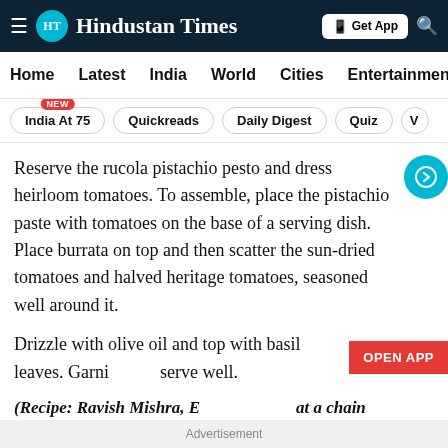Hindustan Times
Home  Latest  India  World  Cities  Entertainment
India At 75  Quickreads  Daily Digest  Quiz  V
Reserve the rucola pistachio pesto and dress heirloom tomatoes. To assemble, place the pistachio paste with tomatoes on the base of a serving dish. Place burrata on top and then scatter the sun-dried tomatoes and halved heritage tomatoes, seasoned well around it.
Drizzle with olive oil and top with basil leaves. Garnish and serve well.
(Recipe: Ravish Mishra, Executive Chef at a chain of luxury hotels)
2. Tiranga Paneer Tikka
Advertisement